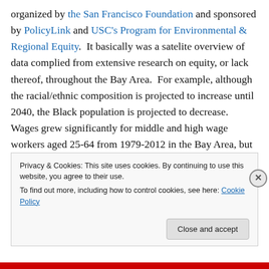organized by the San Francisco Foundation and sponsored by PolicyLink and USC's Program for Environmental & Regional Equity.  It basically was a satelite overview of data complied from extensive research on equity, or lack thereof, throughout the Bay Area.  For example, although the racial/ethnic composition is projected to increase until 2040, the Black population is projected to decrease.  Wages grew significantly for middle and high wage workers aged 25-64 from 1979-2012 in the Bay Area, but decreased for lower waged workers.  Lastly, people of color have lower wages and
Privacy & Cookies: This site uses cookies. By continuing to use this website, you agree to their use.
To find out more, including how to control cookies, see here: Cookie Policy